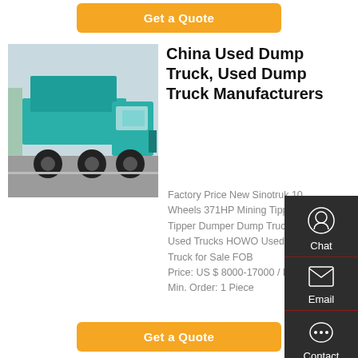[Figure (other): Orange 'Get a Quote' button at top of page]
[Figure (photo): Photo of a teal/green Sinotruk HOWO dump truck on a road]
China Used Dump Truck, Used Dump Truck Manufacturers
Factory Price New Sinotruk 10 Wheels 371HP Mining Tipping Tipper Dumper Dump Truck and Used Trucks HOWO Used Dump Truck for Sale FOB Price: US $ 8000-17000 / Piece Min. Order: 1 Piece
[Figure (screenshot): Sidebar with Chat, Email, Contact, and Top navigation icons on dark background]
[Figure (other): Orange 'Get a Quote' button at bottom of page]